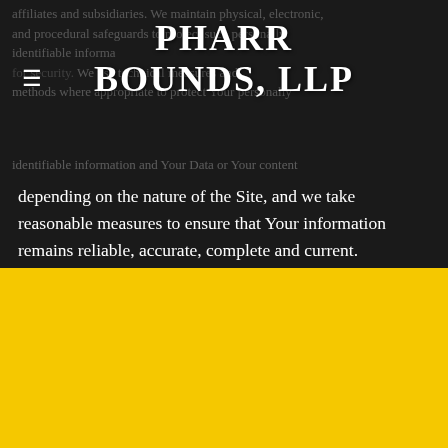PHARR BOUNDS, LLP
affiliates and subsidiaries. We maintain physical, electronic, and procedural safeguards to protect such personally identifiable information. We use technical measures and methods where appropriate to protect Your personally identifiable information and Your Data or Your content depending on the nature of the Site, and we take reasonable measures to ensure that Your information remains reliable, accurate, complete and current. Unfortunately, no data transmission over the Internet is 100 percent secure. We will take reasonable measures, which We believe are appropriate to protect Your
This website uses cookies.
We use cookies to analyze website traffic and optimize your website experience. By accepting our use of cookies, your data will be aggregated with all other user data.